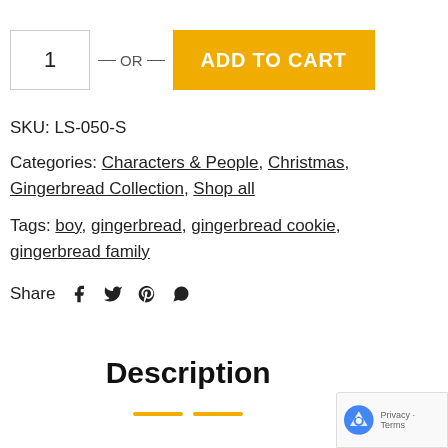[Figure (screenshot): Quantity input box showing '1', OR label with horizontal lines, and a gold 'ADD TO CART' button]
SKU: LS-050-S
Categories: Characters & People, Christmas, Gingerbread Collection, Shop all
Tags: boy, gingerbread, gingerbread cookie, gingerbread family
Share (with social icons: Facebook, Twitter, Pinterest, WhatsApp)
Description
[Figure (other): Two short gold horizontal lines beneath Description heading]
[Figure (other): reCAPTCHA privacy badge in bottom right corner]